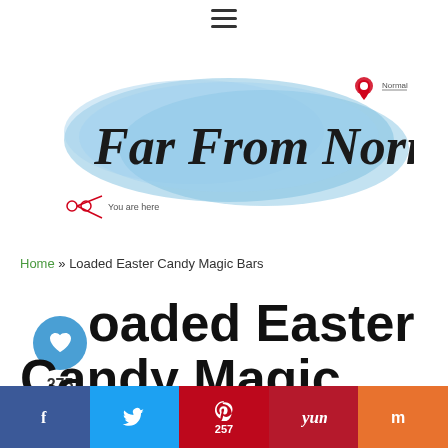≡
[Figure (logo): Far From Normal blog logo with blue watercolor splash background and script text reading 'Far From Normal', with a map pin icon and 'Normal' label, and a 'You are here' marker]
Home » Loaded Easter Candy Magic Bars
Loaded Easter Candy Magic Bars
[Figure (infographic): Social sharing sidebar with heart/like button showing 275 likes and a share button]
[Figure (infographic): Bottom social sharing bar with Facebook, Twitter, Pinterest (257), Yummly, and Mix buttons]